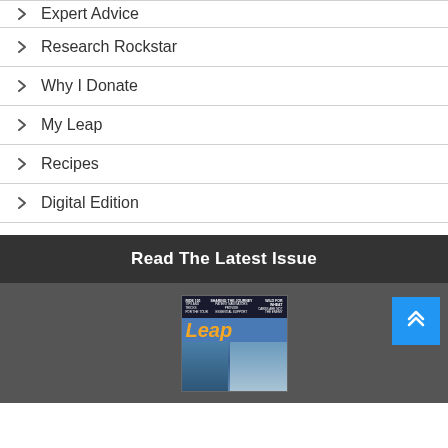Expert Advice
Research Rockstar
Why I Donate
My Leap
Recipes
Digital Edition
Read The Latest Issue
[Figure (photo): Cover of Leap magazine showing two people, with text 'Ride 101: Tips and Tricks for the Tour', 'Sharing the Journey: Patient Navigators Provide Essential Support', 'Wild for Wheat: Carbs are not the Enemy'. Logo says 'Leap'. A blue back-to-top button with double chevron arrows is visible in the corner.]